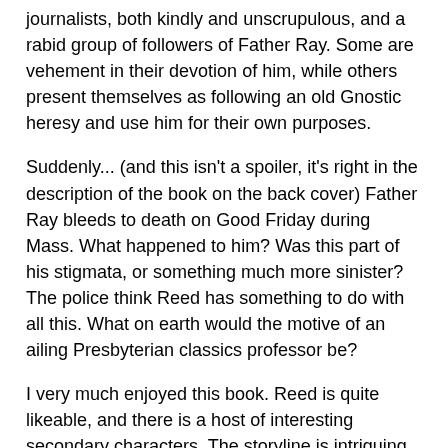journalists, both kindly and unscrupulous, and a rabid group of followers of Father Ray. Some are vehement in their devotion of him, while others present themselves as following an old Gnostic heresy and use him for their own purposes.
Suddenly... (and this isn't a spoiler, it's right in the description of the book on the back cover) Father Ray bleeds to death on Good Friday during Mass. What happened to him? Was this part of his stigmata, or something much more sinister? The police think Reed has something to do with all this. What on earth would the motive of an ailing Presbyterian classics professor be?
I very much enjoyed this book. Reed is quite likeable, and there is a host of interesting secondary characters. The storyline is intriguing, and I thought handled in a very realistic and thought provoking manner. I definitely recommend this book.
The book has a web site, which also includes information about a sequel entitled Viper which I just found out about. It